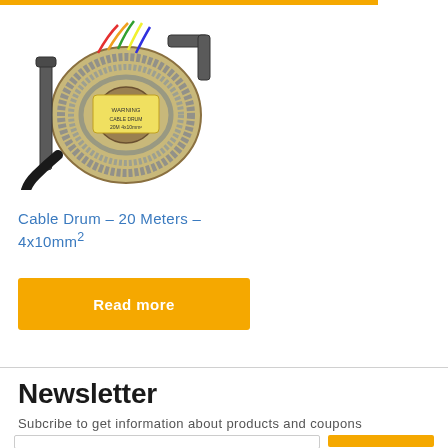[Figure (photo): A cable drum/reel with colorful wires and cable coiled around it, with a metal frame and black cable connectors]
Cable Drum – 20 Meters – 4x10mm²
Read more
Newsletter
Subcribe to get information about products and coupons